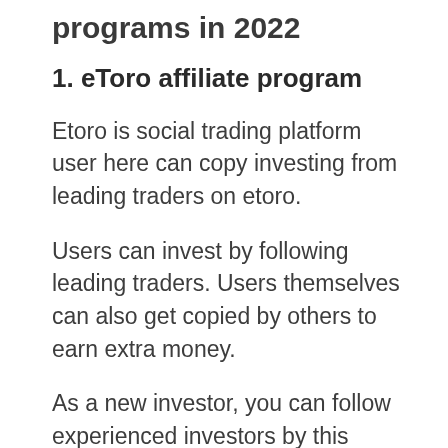programs in 2022
1. eToro affiliate program
Etoro is social trading platform user here can copy investing from leading traders on etoro.
Users can invest by following leading traders. Users themselves can also get copied by others to earn extra money.
As a new investor, you can follow experienced investors by this professional investor can also get paid